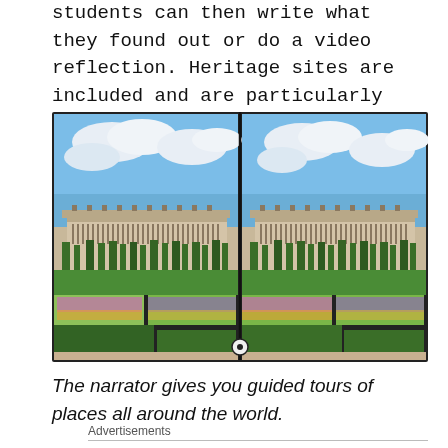students can then write what they found out or do a video reflection. Heritage sites are included and are particularly interesting.
[Figure (photo): A split-screen stereoscopic photograph of the Palace of Versailles and its formal gardens with colorful flower beds and trimmed hedges, with a vertical divider line and a small circle handle at the bottom center.]
The narrator gives you guided tours of places all around the world.
Advertisements